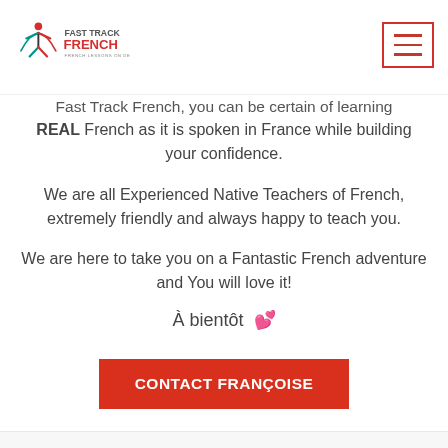Fast Track French — French Lessons on Demand
Fast Track French, you can be certain of learning REAL French as it is spoken in France while building your confidence.
We are all Experienced Native Teachers of French, extremely friendly and always happy to teach you.
We are here to take you on a Fantastic French adventure and You will love it!
À bientôt 💕
CONTACT FRANÇOISE